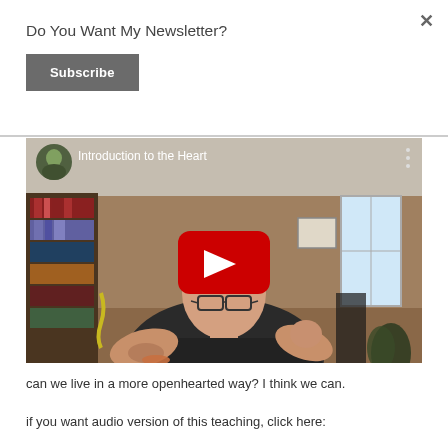Do You Want My Newsletter?
Subscribe
[Figure (screenshot): YouTube video thumbnail showing a man with glasses and a dark shirt sitting in a home office with bookshelves, with a red YouTube play button overlay and the title 'Introduction to the Heart']
can we live in a more openhearted way? I think we can.
if you want audio version of this teaching, click here: